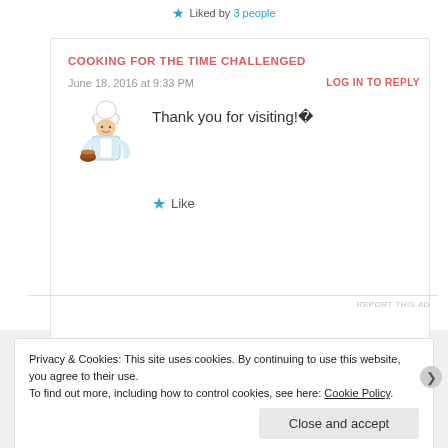★ Liked by 3 people
COOKING FOR THE TIME CHALLENGED
June 18, 2016 at 9:33 PM
LOG IN TO REPLY
[Figure (illustration): Chef cartoon illustration with white hat and apron holding a pot]
Thank you for visiting! ❤
★ Like
REPORT THIS AD
Privacy & Cookies: This site uses cookies. By continuing to use this website, you agree to their use.
To find out more, including how to control cookies, see here: Cookie Policy
Close and accept